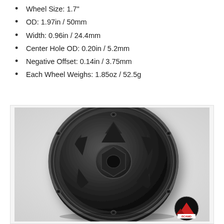Wheel Size: 1.7"
OD: 1.97in / 50mm
Width: 0.96in / 24.4mm
Center Hole OD: 0.20in / 5.2mm
Negative Offset: 0.14in / 3.75mm
Each Wheel Weighs: 1.85oz / 52.5g
[Figure (photo): Black aluminum 1.7 inch RC wheel with 5-spoke design and beadlock ring, shown at an angle on white/light gray background. RC4WD logo badge visible in bottom right corner.]